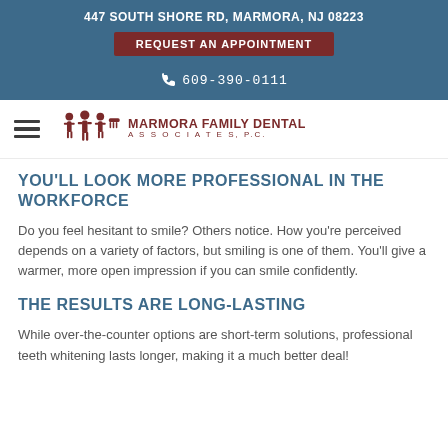447 SOUTH SHORE RD, MARMORA, NJ 08223
REQUEST AN APPOINTMENT
609-390-0111
[Figure (logo): Marmora Family Dental Associates, PC logo with stylized figures and dental comb icon]
YOU'LL LOOK MORE PROFESSIONAL IN THE WORKFORCE
Do you feel hesitant to smile? Others notice. How you're perceived depends on a variety of factors, but smiling is one of them. You'll give a warmer, more open impression if you can smile confidently.
THE RESULTS ARE LONG-LASTING
While over-the-counter options are short-term solutions, professional teeth whitening lasts longer, making it a much better deal!